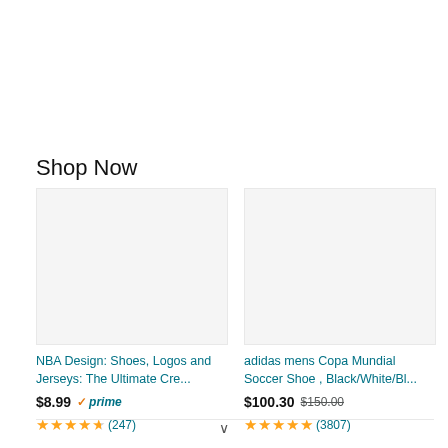Shop Now
[Figure (photo): Product image placeholder for NBA Design book]
NBA Design: Shoes, Logos and Jerseys: The Ultimate Cre...
$8.99 ✓prime
★★★★½ (247)
[Figure (photo): Product image placeholder for adidas Copa Mundial Soccer Shoe]
adidas mens Copa Mundial Soccer Shoe , Black/White/Bl...
$100.30 $150.00
★★★★★ (3807)